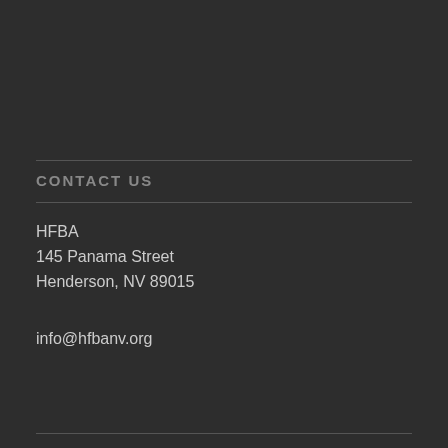CONTACT US
HFBA
145 Panama Street
Henderson, NV 89015
info@hfbanv.org